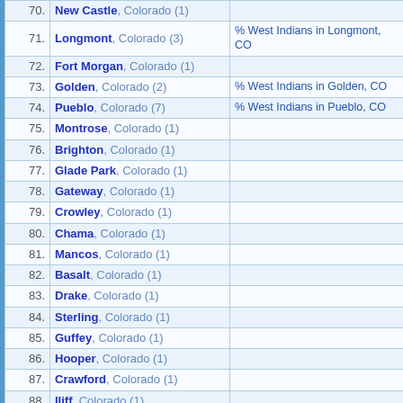| # | City | Link |
| --- | --- | --- |
| 70. | New Castle, Colorado (1) |  |
| 71. | Longmont, Colorado (3) | % West Indians in Longmont, CO |
| 72. | Fort Morgan, Colorado (1) |  |
| 73. | Golden, Colorado (2) | % West Indians in Golden, CO |
| 74. | Pueblo, Colorado (7) | % West Indians in Pueblo, CO |
| 75. | Montrose, Colorado (1) |  |
| 76. | Brighton, Colorado (1) |  |
| 77. | Glade Park, Colorado (1) |  |
| 78. | Gateway, Colorado (1) |  |
| 79. | Crowley, Colorado (1) |  |
| 80. | Chama, Colorado (1) |  |
| 81. | Mancos, Colorado (1) |  |
| 82. | Basalt, Colorado (1) |  |
| 83. | Drake, Colorado (1) |  |
| 84. | Sterling, Colorado (1) |  |
| 85. | Guffey, Colorado (1) |  |
| 86. | Hooper, Colorado (1) |  |
| 87. | Crawford, Colorado (1) |  |
| 88. | Iliff, Colorado (1) |  |
| 89. | Silver Plume, Colorado (1) |  |
| 90. | Glenwood Springs, Colorado (1) |  |
| 91. | Amherst, Colorado (1) |  |
| 92. | Orchard, Colorado (1) |  |
| 93. | Wiley, Colorado (1) |  |
| 94. | Seibert, Colorado (1) |  |
| 95. | Bailey, Colorado (1) |  |